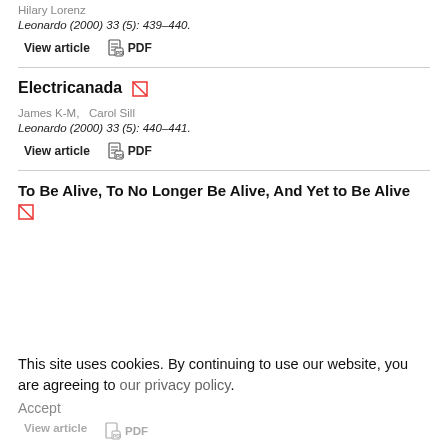Hilary Lorenz
Leonardo (2000) 33 (5): 439–440.
View article   PDF
Electricanada
James K-M,   Carol Sill
Leonardo (2000) 33 (5): 440–441.
View article   PDF
To Be Alive, To No Longer Be Alive, And Yet to Be Alive
This site uses cookies. By continuing to use our website, you are agreeing to our privacy policy. Accept
View article   PDF